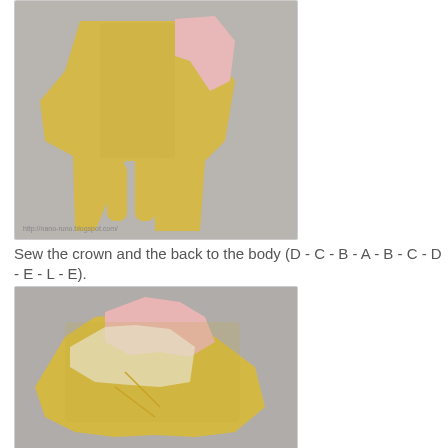[Figure (photo): Yellow felt craft animal/doll piece being held, showing finger-like protrusions, with pink fabric piece attached at top]
Sew the crown and the back to the body (D - C - B - A - B - C - D - E - L - E).
[Figure (photo): Yellow and pink felt craft animal/doll pieces being sewn together, showing the body parts being assembled with needle visible]